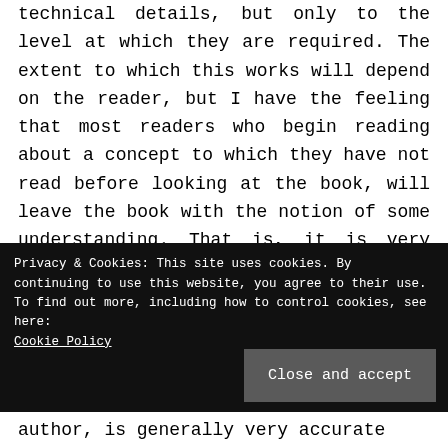technical details, but only to the level at which they are required. The extent to which this works will depend on the reader, but I have the feeling that most readers who begin reading about a concept to which they have not read before looking at the book, will leave the book with the notion of some understanding. That is, it is very clear, without reaching technical details which would be required at the graduate level (which, again, is not the
Privacy & Cookies: This site uses cookies. By continuing to use this website, you agree to their use.
To find out more, including how to control cookies, see here:
Cookie Policy
Close and accept
author, is generally very accurate